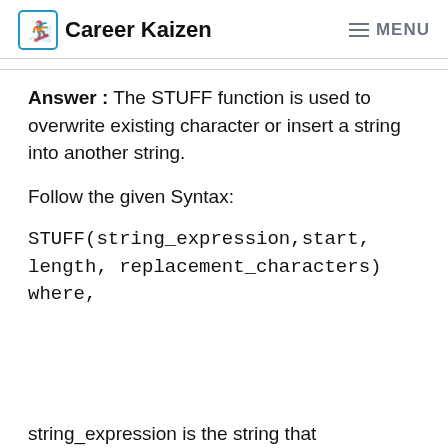Career Kaizen  MENU
Answer : The STUFF function is used to overwrite existing character or insert a string into another string.
Follow the given Syntax:
string_expression is the string that